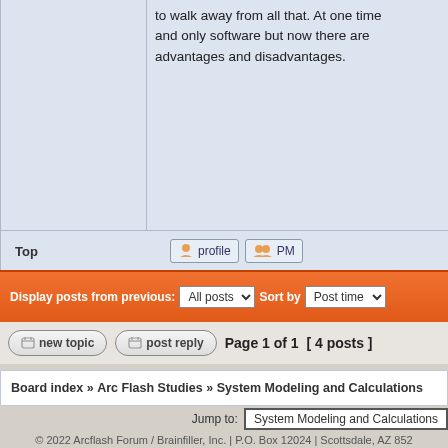to walk away from all that. At one time and only software but now there are advantages and disadvantages.
Top
Display posts from previous: All posts  Sort by  Post time
Page 1 of 1  [ 4 posts ]
Board index » Arc Flash Studies » System Modeling and Calculations
You cann
You car
You car
You canne
You cann
Jump to: System Modeling and Calculations
© 2022 Arcflash Forum / Brainfiller, Inc. | P.O. Box 12024 | Scottsdale, AZ 852